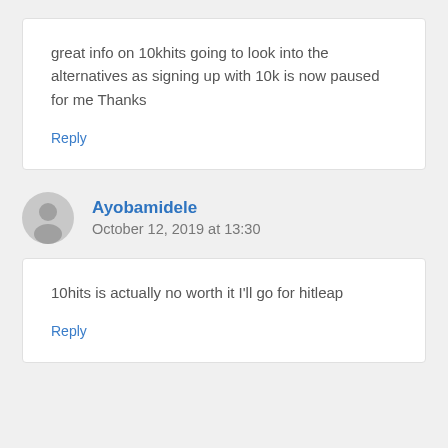great info on 10khits going to look into the alternatives as signing up with 10k is now paused for me Thanks
Reply
Ayobamidele
October 12, 2019 at 13:30
10hits is actually no worth it I'll go for hitleap
Reply